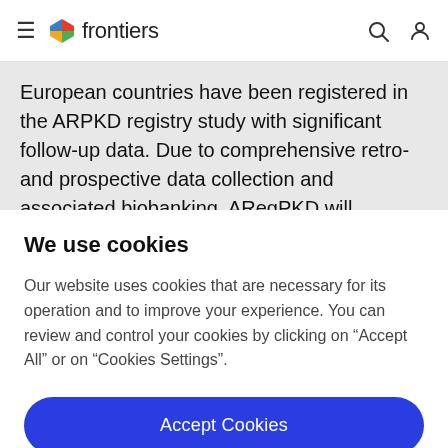frontiers
European countries have been registered in the ARPKD registry study with significant follow-up data. Due to comprehensive retro- and prospective data collection and associated biobanking, ARegPKD will generate a
We use cookies
Our website uses cookies that are necessary for its operation and to improve your experience. You can review and control your cookies by clicking on "Accept All" or on "Cookies Settings".
Accept Cookies
Cookies Settings